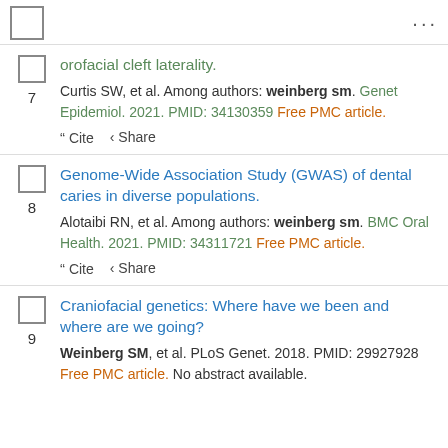7. orofacial cleft laterality. Curtis SW, et al. Among authors: weinberg sm. Genet Epidemiol. 2021. PMID: 34130359 Free PMC article.
8. Genome-Wide Association Study (GWAS) of dental caries in diverse populations. Alotaibi RN, et al. Among authors: weinberg sm. BMC Oral Health. 2021. PMID: 34311721 Free PMC article.
9. Craniofacial genetics: Where have we been and where are we going? Weinberg SM, et al. PLoS Genet. 2018. PMID: 29927928 Free PMC article. No abstract available.